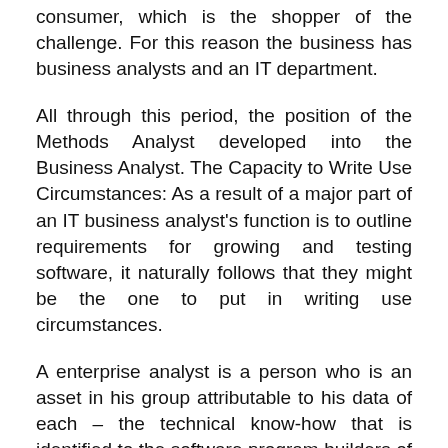consumer, which is the shopper of the challenge. For this reason the business has business analysts and an IT department.
All through this period, the position of the Methods Analyst developed into the Business Analyst. The Capacity to Write Use Circumstances: As a result of a major part of an IT business analyst's function is to outline requirements for growing and testing software, it naturally follows that they might be the one to put in writing use circumstances.
A enterprise analyst is a person who is an asset in his group attributable to his data of each – the technical know-how that is identified to the software program builders of the sector and the understanding of the sector dynamics as identified to the management professionals within